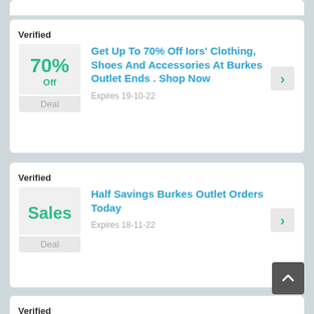70% Off Deal — Verified — Get Up To 70% Off Iors' Clothing, Shoes And Accessories At Burkes Outlet Ends . Shop Now — Expires 19-10-22
Sales Deal — Verified — Half Savings Burkes Outlet Orders Today — Expires 18-11-22
$4 Deal — Verified — Get Fall Dcor As Low As